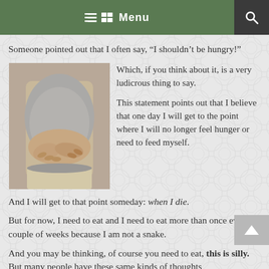Menu
Someone pointed out that I often say, “I shouldn’t be hungry!”
[Figure (photo): Person holding their stomach/abdomen with both hands, wearing a grey shirt and light pants]
Which, if you think about it, is a very ludicrous thing to say.

This statement points out that I believe that one day I will get to the point where I will no longer feel hunger or need to feed myself.
And I will get to that point someday: when I die.
But for now, I need to eat and I need to eat more than once every couple of weeks because I am not a snake.
And you may be thinking, of course you need to eat, this is silly.  But many people have these same kinds of thoughts